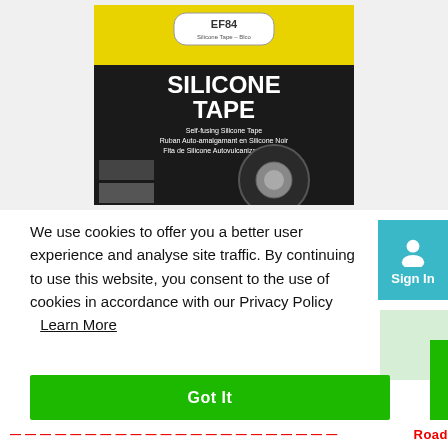[Figure (photo): Product packaging image for EF84 Silicone Tape (Self-fusing Silicone Tape / Ruban Auto-amalgamant en Silicone Noir / Fita de Silicone Autovulcanizante Preta). Black packaging with yellow top area showing a roll of black silicone tape and small usage photos.]
We use cookies to offer you a better user experience and analyse site traffic. By continuing to use this website, you consent to the use of cookies in accordance with our Privacy Policy  Learn More
Got It
Road